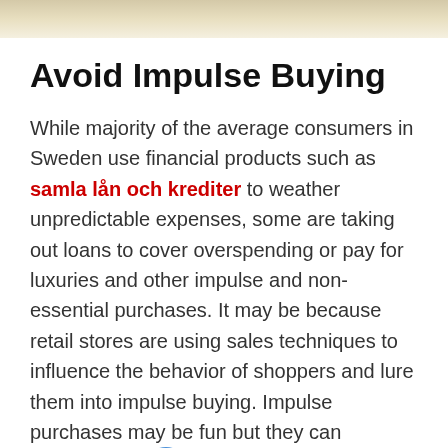[Figure (photo): Top banner image with beige/tan gradient background, partial image visible at top of page]
Avoid Impulse Buying
While majority of the average consumers in Sweden use financial products such as samla lån och krediter to weather unpredictable expenses, some are taking out loans to cover overspending or pay for luxuries and other impulse and non-essential purchases. It may be because retail stores are using sales techniques to influence the behavior of shoppers and lure them into impulse buying. Impulse purchases may be fun but they can threaten a family's finances. In fact, spending too much, especially on non-essentials can have a crippling impact on the ability of many households to reach their financial goals. The easiest way that consumers